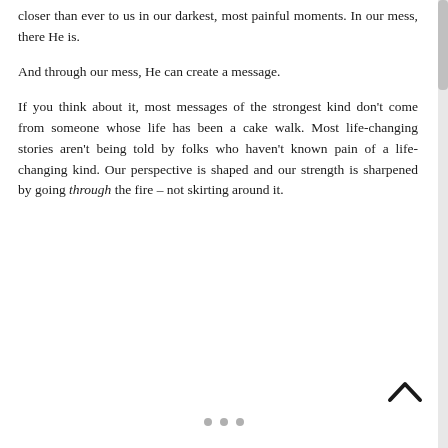closer than ever to us in our darkest, most painful moments. In our mess, there He is.
And through our mess, He can create a message.
If you think about it, most messages of the strongest kind don't come from someone whose life has been a cake walk. Most life-changing stories aren't being told by folks who haven't known pain of a life-changing kind. Our perspective is shaped and our strength is sharpened by going through the fire – not skirting around it.